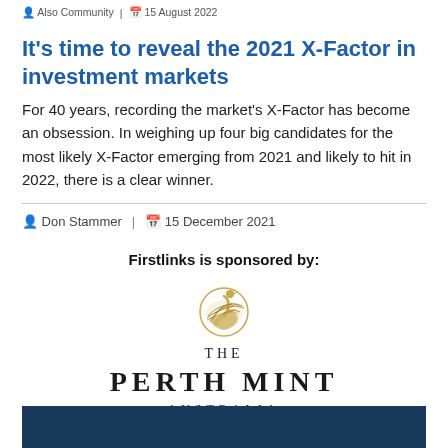Also Community | 15 August 2022
It's time to reveal the 2021 X-Factor in investment markets
For 40 years, recording the market's X-Factor has become an obsession. In weighing up four big candidates for the most likely X-Factor emerging from 2021 and likely to hit in 2022, there is a clear winner.
Don Stammer | 15 December 2021
Firstlinks is sponsored by:
[Figure (logo): The Perth Mint Australia logo — a golden swan emblem above the text THE PERTH MINT AUSTRALIA in serif letterpress style]